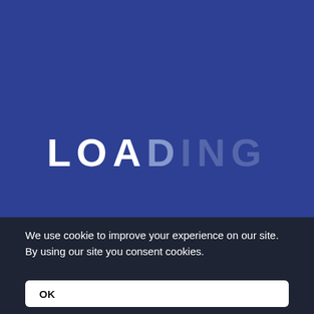[Figure (screenshot): Loading screen with blue background and the word LOADING in large bold letters, where the first three letters (LOA) are white/light and the last three (DING) are progressively more muted blue, suggesting a loading animation state.]
We use cookie to improve your experience on our site. By using our site you consent cookies.
OK